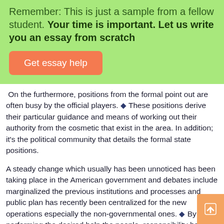Remember: This is just a sample from a fellow student. Your time is important. Let us write you an essay from scratch
Get essay help
On the furthermore, positions from the formal point out are often busy by the official players. ◆ These positions derive their particular guidance and means of working out their authority from the cosmetic that exist in the area. In addition; it's the political community that details the formal state positions.
A steady change which usually has been unnoticed has been taking place in the American government and debates include marginalized the previous institutions and processes and public plan has recently been centralized for the new operations especially the non-governmental ones. ◆ By performing the desired help the people, responsibility has typically been shared by the American government as well as non-profit organizations, various amounts of government plus the private corporations